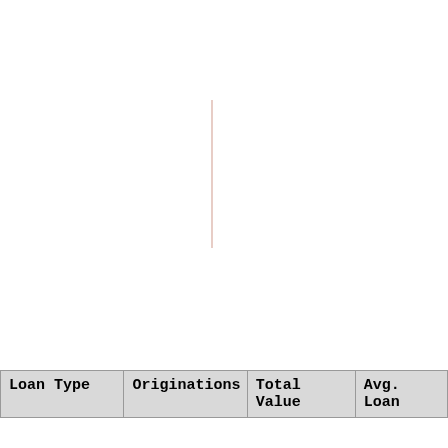[Figure (other): Nearly blank chart area with a faint thin vertical line (salmon/rose color) near the center of the plot area, suggesting a mostly empty bar or line chart with minimal data visible.]
| Loan Type | Originations | Total Value | Avg. Loan |
| --- | --- | --- | --- |